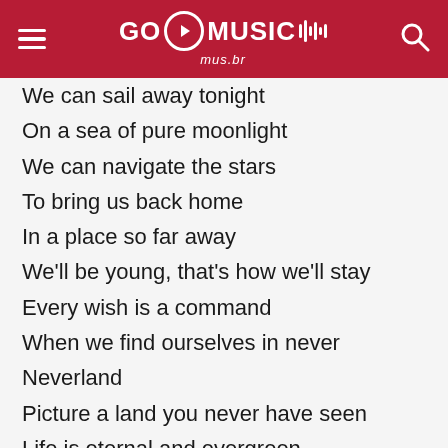GO MUSIC mus.br
We can sail away tonight
On a sea of pure moonlight
We can navigate the stars
To bring us back home
In a place so far away
We'll be young, that's how we'll stay
Every wish is a command
When we find ourselves in never
Neverland
Picture a land you never have seen
Life is eternal and evergreen
Future of happiness all in your hands
All in this place I created